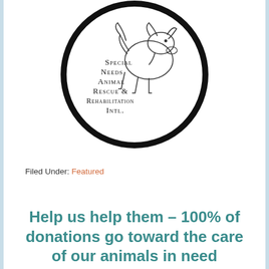[Figure (logo): Circular logo for Special Needs Animal Rescue & Rehabilitation Intl. featuring an outline illustration of a dog inside a thick black circle, with text reading SPECIAL NEEDS ANIMAL RESCUE & REHABILITATION INTL.]
Filed Under: Featured
Help us help them – 100% of donations go toward the care of our animals in need